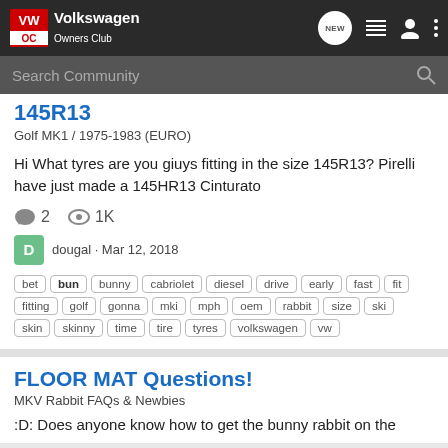Volkswagen Owners Club
145R13
Golf MK1 / 1975-1983 (EURO)
Hi What tyres are you giuys fitting in the size 145R13? Pirelli have just made a 145HR13 Cinturato
2 comments · 1K views
dougal · Mar 12, 2018
bet bun bunny cabriolet diesel drive early fast fit fitting golf gonna mki mph oem rabbit size ski skin skinny time tire tyres volkswagen vw
FLOOR MAT Questions!
MKV Rabbit FAQs & Newbies
:D: Does anyone know how to get the bunny rabbit on the